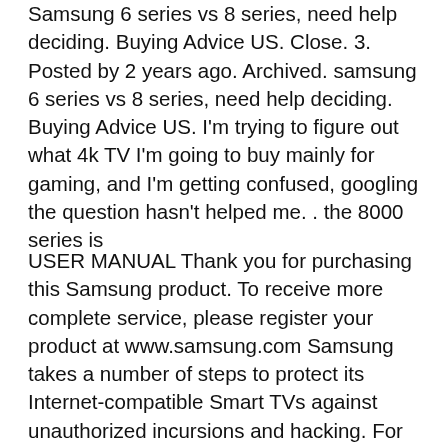Samsung 6 series vs 8 series, need help deciding. Buying Advice US. Close. 3. Posted by 2 years ago. Archived. samsung 6 series vs 8 series, need help deciding. Buying Advice US. I'm trying to figure out what 4k TV I'm going to buy mainly for gaming, and I'm getting confused, googling the question hasn't helped me. . the 8000 series is
USER MANUAL Thank you for purchasing this Samsung product. To receive more complete service, please register your product at www.samsung.com Samsung takes a number of steps to protect its Internet-compatible Smart TVs against unauthorized incursions and hacking. For example, certain sensitive communications between the TV and the Internet SMART TV E-Manual. Contents e-